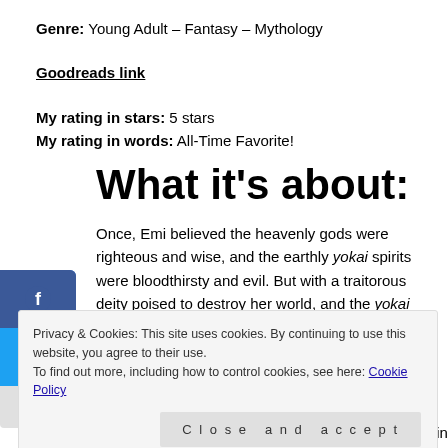Genre: Young Adult – Fantasy – Mythology
Goodreads link
My rating in stars: 5 stars
My rating in words: All-Time Favorite!
What it's about:
Once, Emi believed the heavenly gods were righteous and wise, and the earthly yokai spirits were bloodthirsty and evil. But with a traitorous deity poised to destroy her world, and the yokai standing as humanity's only defense, the lies of her upbringing have toppled
Privacy & Cookies: This site uses cookies. By continuing to use this website, you agree to their use. To find out more, including how to control cookies, see here: Cookie Policy
binds his magic and memories. And once the ancient power inside